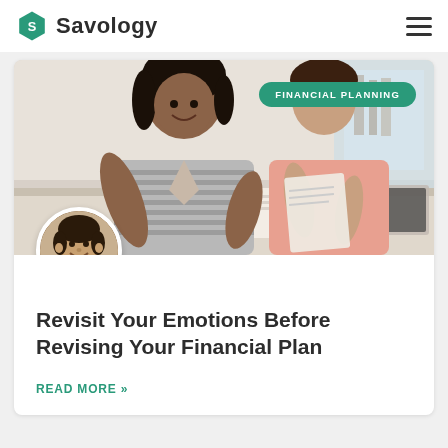Savology
[Figure (photo): Hero image of two people reviewing financial documents at a desk, with a 'FINANCIAL PLANNING' badge overlay and a circular author portrait below]
Revisit Your Emotions Before Revising Your Financial Plan
READ MORE »